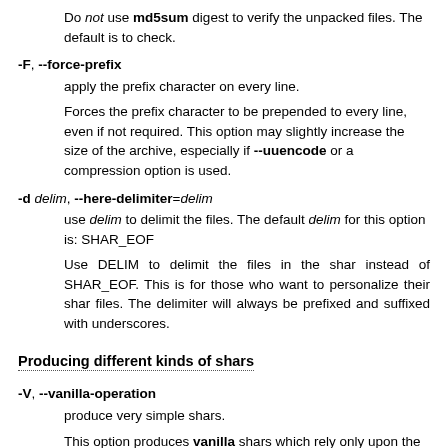Do not use md5sum digest to verify the unpacked files. The default is to check.
-F, --force-prefix
apply the prefix character on every line.
Forces the prefix character to be prepended to every line, even if not required. This option may slightly increase the size of the archive, especially if --uuencode or a compression option is used.
-d delim, --here-delimiter=delim
use delim to delimit the files. The default delim for this option is: SHAR_EOF
Use DELIM to delimit the files in the shar instead of SHAR_EOF. This is for those who want to personalize their shar files. The delimiter will always be prefixed and suffixed with underscores.
Producing different kinds of shars
-V, --vanilla-operation
produce very simple shars.
This option produces vanilla shars which rely only upon the